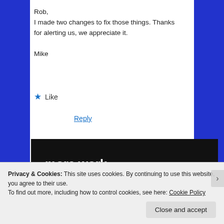Rob,
I made two changes to fix those things. Thanks for alerting us, we appreciate it.

Mike
★ Like
Reply
[Figure (infographic): Dark advertisement banner with bold white text 'more work.' and a button 'Get started for free' with a rounded border]
Privacy & Cookies: This site uses cookies. By continuing to use this website, you agree to their use.
To find out more, including how to control cookies, see here: Cookie Policy
Close and accept